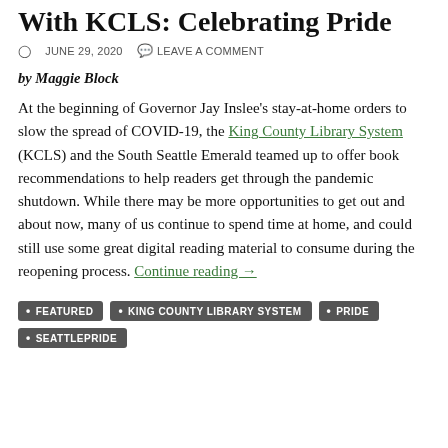Stay-at-Home, Read-at-Home With KCLS: Celebrating Pride
JUNE 29, 2020   LEAVE A COMMENT
by Maggie Block
At the beginning of Governor Jay Inslee’s stay-at-home orders to slow the spread of COVID-19, the King County Library System (KCLS) and the South Seattle Emerald teamed up to offer book recommendations to help readers get through the pandemic shutdown. While there may be more opportunities to get out and about now, many of us continue to spend time at home, and could still use some great digital reading material to consume during the reopening process. Continue reading →
FEATURED
KING COUNTY LIBRARY SYSTEM
PRIDE
SEATTLEPRIDE